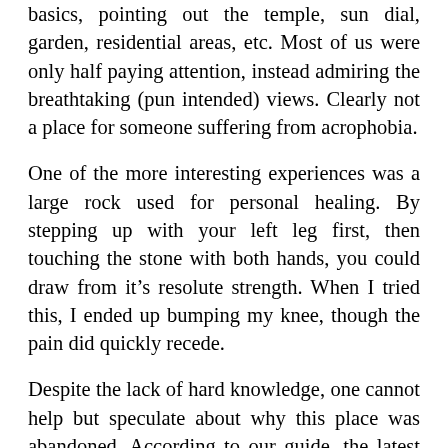basics, pointing out the temple, sun dial, garden, residential areas, etc. Most of us were only half paying attention, instead admiring the breathtaking (pun intended) views. Clearly not a place for someone suffering from acrophobia.
One of the more interesting experiences was a large rock used for personal healing. By stepping up with your left leg first, then touching the stone with both hands, you could draw from it's resolute strength. When I tried this, I ended up bumping my knee, though the pain did quickly recede.
Despite the lack of hard knowledge, one cannot help but speculate about why this place was abandoned. According to our guide, the latest theory is that long ago, Machu Picchu had a